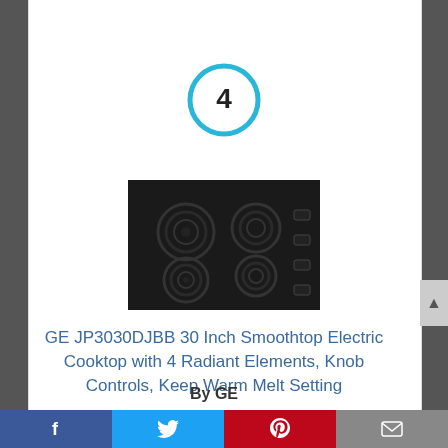[Figure (other): Blue circle with number 4 inside, ranking badge]
[Figure (photo): Black GE electric cooktop with 4 radiant burner elements and knob controls on right side]
GE JP3030DJBB 30 Inch Smoothtop Electric Cooktop with 4 Radiant Elements, Knob Controls, Keep Warm Melt Setting
By GE